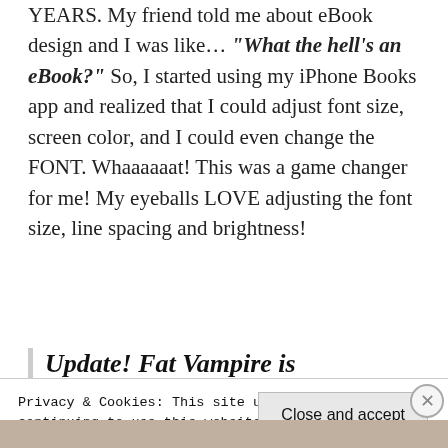YEARS. My friend told me about eBook design and I was like… "What the hell's an eBook?" So, I started using my iPhone Books app and realized that I could adjust font size, screen color, and I could even change the FONT. Whaaaaaat! This was a game changer for me! My eyeballs LOVE adjusting the font size, line spacing and brightness!
Update! Fat Vampire is
Privacy & Cookies: This site uses cookies. By continuing to use this website, you agree to their use.
To find out more, including how to control cookies, see here: Cookie Policy